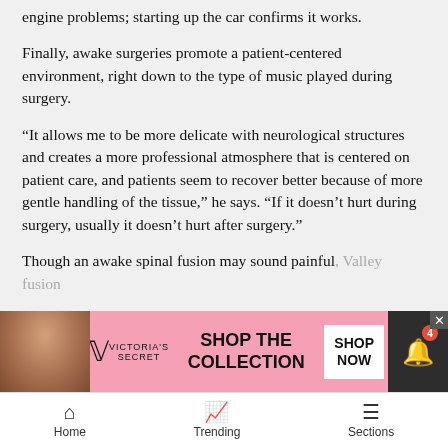engine problems; starting up the car confirms it works.
Finally, awake surgeries promote a patient-centered environment, right down to the type of music played during surgery.
“It allows me to be more delicate with neurological structures and creates a more professional atmosphere that is centered on patient care, and patients seem to recover better because of more gentle handling of the tissue,” he says. “If it doesn’t hurt during surgery, usually it doesn’t hurt after surgery.”
Though an awake spinal fusion may sound painful, Valley ... a fusion ...
[Figure (screenshot): Victoria's Secret advertisement banner with model photo, VS logo, 'SHOP THE COLLECTION' text, and 'SHOP NOW' button]
Home   Trending   Sections